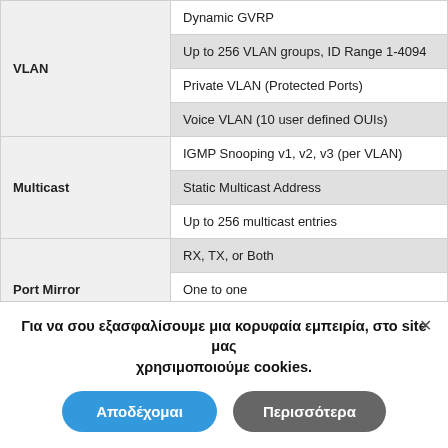| Feature | Description |
| --- | --- |
| VLAN | Dynamic GVRP |
|  | Up to 256 VLAN groups, ID Range 1-4094 |
|  | Private VLAN (Protected Ports) |
|  | Voice VLAN (10 user defined OUIs) |
| Multicast | IGMP Snooping v1, v2, v3 (per VLAN) |
|  | Static Multicast Address |
|  | Up to 256 multicast entries |
| Port Mirror | RX, TX, or Both |
|  | One to one |
|  | 802.1X Port-Based Network Access Control |
Για να σου εξασφαλίσουμε μια κορυφαία εμπειρία, στο site μας χρησιμοποιούμε cookies.